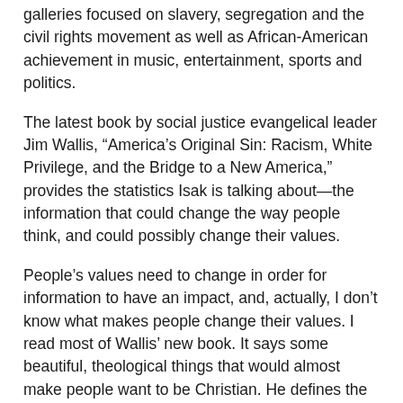galleries focused on slavery, segregation and the civil rights movement as well as African-American achievement in music, entertainment, sports and politics.
The latest book by social justice evangelical leader Jim Wallis, “America’s Original Sin: Racism, White Privilege, and the Bridge to a New America,” provides the statistics Isak is talking about—the information that could change the way people think, and could possibly change their values.
People’s values need to change in order for information to have an impact, and, actually, I don’t know what makes people change their values. I read most of Wallis’ new book. It says some beautiful, theological things that would almost make people want to be Christian. He defines the problem that we have: “The unspoken but everyday assumption is that America is still a white society and that it has minorities who have problems in regard to race.”
We have overt systemic racism in housing, money lending and access to opportunities, but the law, when it is on the side of civil rights, could address those things. What the law can’t do is change hearts and minds. Conservative columnist David Brooks describes